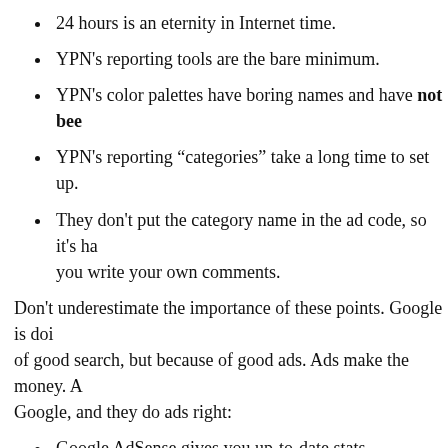24 hours is an eternity in Internet time.
YPN's reporting tools are the bare minimum.
YPN's color palettes have boring names and have not bee
YPN's reporting “categories” take a long time to set up.
They don't put the category name in the ad code, so it's ha you write your own comments.
Don't underestimate the importance of these points. Google is doi of good search, but because of good ads. Ads make the money. A Google, and they do ads right:
Google AdSense gives you up-to-date stats throughout th
AdSense gives you powerful reporting tools.
AdSense allows you to easily and quickly choose differen
AdSense allows you to effectively compare performance b reporting “channels.”
Today, I called YPN and talked with Chris Dupont, a very friendly “p